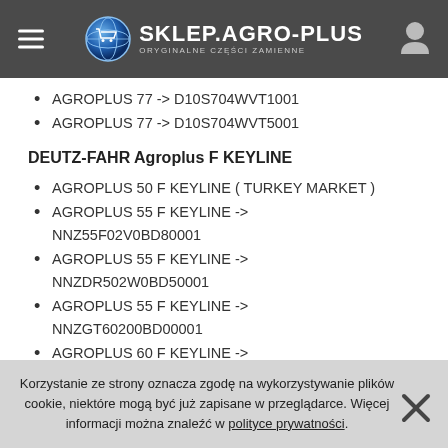[Figure (logo): SKLEP.AGRO-PLUS website header with logo, hamburger menu, and user icon on dark grey background]
AGROPLUS 77 -> D10S704WVT1001
AGROPLUS 77 -> D10S704WVT5001
DEUTZ-FAHR Agroplus F KEYLINE
AGROPLUS 50 F KEYLINE ( TURKEY MARKET )
AGROPLUS 55 F KEYLINE -> NNZ55F02V0BD80001
AGROPLUS 55 F KEYLINE -> NNZDR502W0BD50001
AGROPLUS 55 F KEYLINE -> NNZGT60200BD00001
AGROPLUS 60 F KEYLINE -> NNZGT80200BD00001
AGROPLUS F 50 Keyline
AGROPLUS F 55 Keyline -> 50001
Korzystanie ze strony oznacza zgodę na wykorzystywanie plików cookie, niektóre mogą być już zapisane w przeglądarce. Więcej informacji można znaleźć w polityce prywatności.